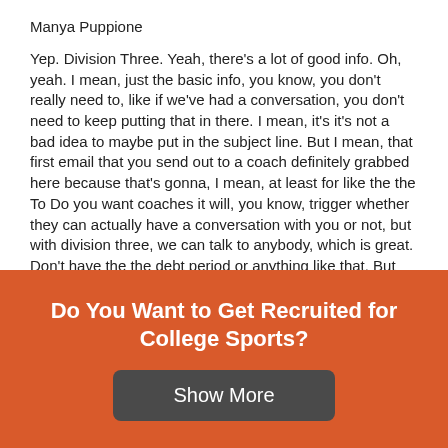Manya Puppione
Yep. Division Three. Yeah, there's a lot of good info. Oh, yeah. I mean, just the basic info, you know, you don't really need to, like if we've had a conversation, you don't need to keep putting that in there. I mean, it's it's not a bad idea to maybe put in the subject line. But I mean, that first email that you send out to a coach definitely grabbed here because that's gonna, I mean, at least for like the the To Do you want coaches it will, you know, trigger whether they can actually have a conversation with you or not, but with division three, we can talk to anybody, which is great. Don't have the the debt period or anything like that. But yeah, grad years important GPA, LSAT score, you
Do You Want to Get Recruited for College Sports?
Show More